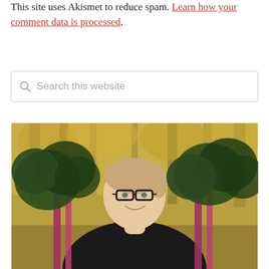This site uses Akismet to reduce spam. Learn how your comment data is processed.
[Figure (screenshot): Search bar with magnifying glass icon and placeholder text 'Search this website']
[Figure (photo): Woman with glasses smiling, holding large bunches of leafy green and red chard plants, with blurred autumn trees in the background]